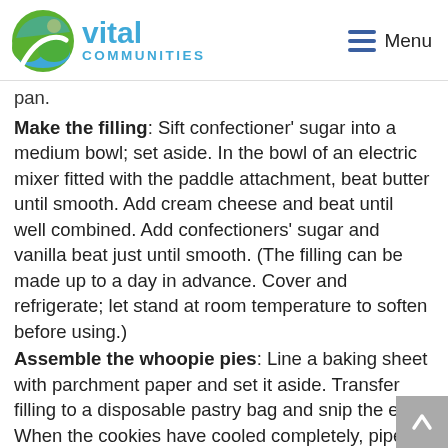vital COMMUNITIES  Menu
pan.
Make the filling: Sift confectioner' sugar into a medium bowl; set aside. In the bowl of an electric mixer fitted with the paddle attachment, beat butter until smooth. Add cream cheese and beat until well combined. Add confectioners' sugar and vanilla beat just until smooth. (The filling can be made up to a day in advance. Cover and refrigerate; let stand at room temperature to soften before using.)
Assemble the whoopie pies: Line a baking sheet with parchment paper and set it aside. Transfer filling to a disposable pastry bag and snip the end. When the cookies have cooled completely, pipe a large dollop of